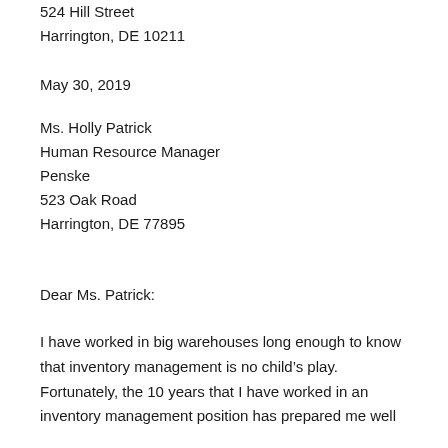524 Hill Street
Harrington, DE 10211
May 30, 2019
Ms. Holly Patrick
Human Resource Manager
Penske
523 Oak Road
Harrington, DE 77895
Dear Ms. Patrick:
I have worked in big warehouses long enough to know that inventory management is no child’s play. Fortunately, the 10 years that I have worked in an inventory management position has prepared me well